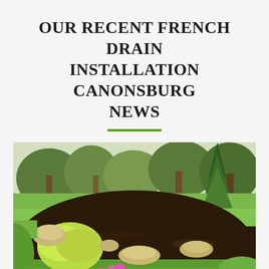OUR RECENT FRENCH DRAIN INSTALLATION CANONSBURG NEWS
[Figure (photo): Landscaped garden bed with dark mulch, decorative rocks, a yellow-green shrub, pink flowers, and trees in the background on a green lawn]
THE BASICS OF CANONSBURG MULCH